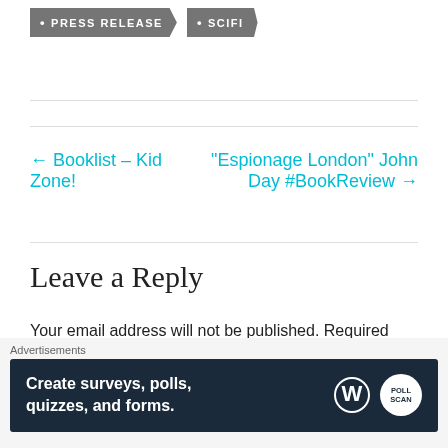• PRESS RELEASE
• SCIFI
← Booklist – Kid Zone!
"Espionage London" John Day #BookReview →
Leave a Reply
Your email address will not be published. Required
Advertisements
[Figure (other): Advertisement banner: Create surveys, polls, quizzes, and forms. WordPress and PollScan logos.]